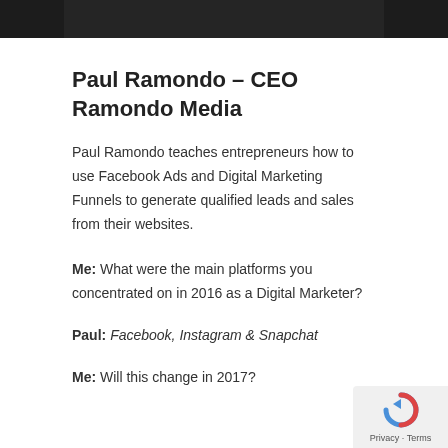[Figure (photo): Dark background photo strip at the top of the page, cropped bottom of a person's image]
Paul Ramondo – CEO Ramondo Media
Paul Ramondo teaches entrepreneurs how to use Facebook Ads and Digital Marketing Funnels to generate qualified leads and sales from their websites.
Me: What were the main platforms you concentrated on in 2016 as a Digital Marketer?
Paul: Facebook, Instagram & Snapchat
Me: Will this change in 2017?